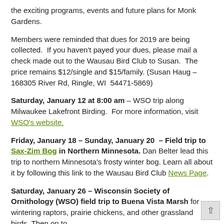the exciting programs, events and future plans for Monk Gardens.
Members were reminded that dues for 2019 are being collected. If you haven't payed your dues, please mail a check made out to the Wausau Bird Club to Susan. The price remains $12/single and $15/family. (Susan Haug – 168305 River Rd, Ringle, WI 54471-5869)
Saturday, January 12 at 8:00 am – WSO trip along Milwaukee Lakefront Birding. For more information, visit WSO's website.
Friday, January 18 – Sunday, January 20 – Field trip to Sax-Zim Bog in Northern Minnesota. Dan Belter lead this trip to northern Minnesota's frosty winter bog. Learn all about it by following this link to the Wausau Bird Club News Page.
Saturday, January 26 – Wisconsin Society of Ornithology (WSO) field trip to Buena Vista Marsh for wintering raptors, prairie chickens, and other grassland birds. Then on to